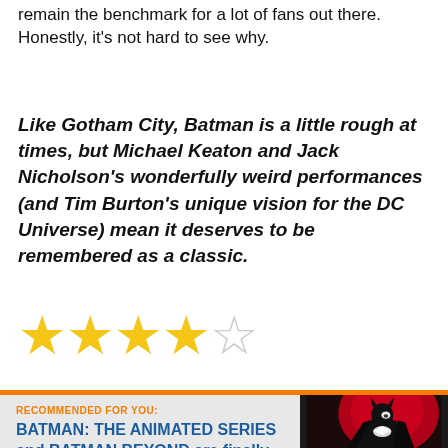remain the benchmark for a lot of fans out there. Honestly, it's not hard to see why.
Like Gotham City, Batman is a little rough at times, but Michael Keaton and Jack Nicholson's wonderfully weird performances (and Tim Burton's unique vision for the DC Universe) mean it deserves to be remembered as a classic.
[Figure (other): 4 out of 5 stars rating — four filled gold stars and one empty/outline star]
[Figure (illustration): Recommended for You box with Batman: The Animated Series and Batman Beyond article preview, with Batman cartoon illustration on dark red background]
RECOMMENDED FOR YOU: BATMAN: THE ANIMATED SERIES and BATMAN BEYOND are finally coming to HBO Max